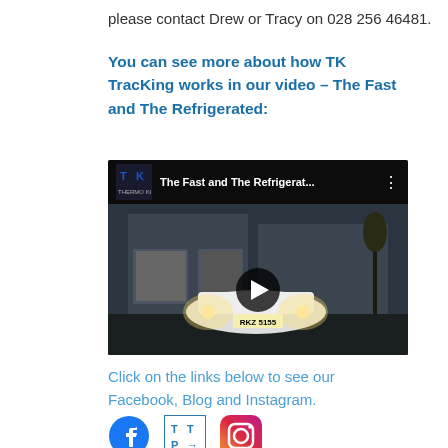please contact Drew or Tracy on 028 256 46481.
You can see more about how TK TracKing works in our video – The Fast and The Refrigerated:
[Figure (screenshot): YouTube video thumbnail for 'The Fast and The Refrigerat...' showing a white van with headlights on outside a building at night, with a play button overlay.]
Click on the links below to see our Facebook, Blog and Instagram.
[Figure (logo): Facebook logo icon, blog/TTP logo icon, and Instagram logo icon displayed as social media links.]